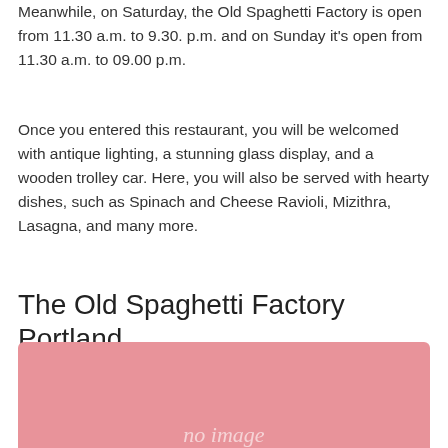Meanwhile, on Saturday, the Old Spaghetti Factory is open from 11.30 a.m. to 9.30. p.m. and on Sunday it's open from 11.30 a.m. to 09.00 p.m.
Once you entered this restaurant, you will be welcomed with antique lighting, a stunning glass display, and a wooden trolley car. Here, you will also be served with hearty dishes, such as Spinach and Cheese Ravioli, Mizithra, Lasagna, and many more.
The Old Spaghetti Factory Portland
[Figure (photo): Pink placeholder image with 'no image' text in italic grey]